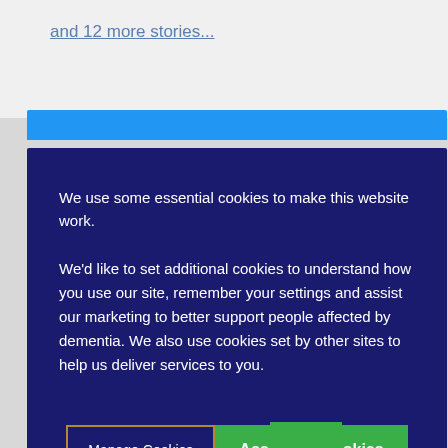and 12 more stories...
We use some essential cookies to make this website work.
We'd like to set additional cookies to understand how you use our site, remember your settings and assist our marketing to better support people affected by dementia. We also use cookies set by other sites to help us deliver services to you.
Manage Cookies
Accept All Cookies